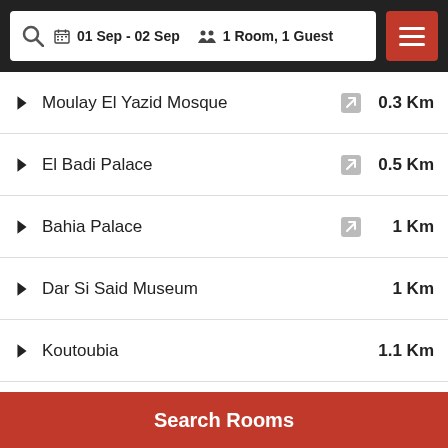01 Sep - 02 Sep  1 Room, 1 Guest
Moulay El Yazid Mosque  0.3 Km
El Badi Palace  0.5 Km
Bahia Palace  1 Km
Dar Si Said Museum  1 Km
Koutoubia  1.1 Km
Djemaa El Fna  1.2 Km
Souk Of The Medina  1.4 Km
Search Rooms